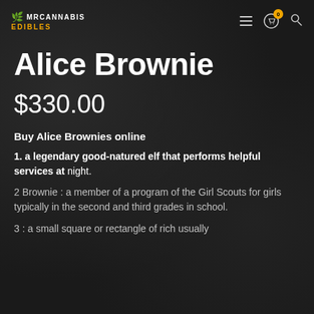MRCANNABIS EDIBLES
Alice Brownie
$330.00
Buy Alice Brownies online
1. a legendary good-natured elf that performs helpful services at night.
2 Brownie : a member of a program of the Girl Scouts for girls typically in the second and third grades in school.
3 : a small square or rectangle of rich usually